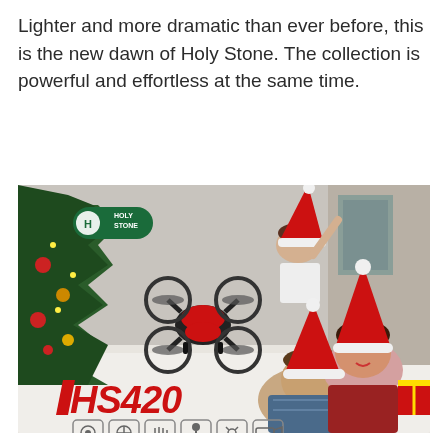Lighter and more dramatic than ever before, this is the new dawn of Holy Stone. The collection is powerful and effortless at the same time.
[Figure (photo): Holy Stone HS420 drone product advertisement image showing a happy family of three (father, mother, and daughter) wearing Santa hats, lying on a white fur rug in a living room decorated for Christmas. A red quadcopter drone (HS420) is shown flying in the foreground with a Christmas tree on the left. The Holy Stone logo appears in green in the upper left. The HS420 model name is displayed in bold red/green letters at the bottom left, along with six feature icons along the bottom.]